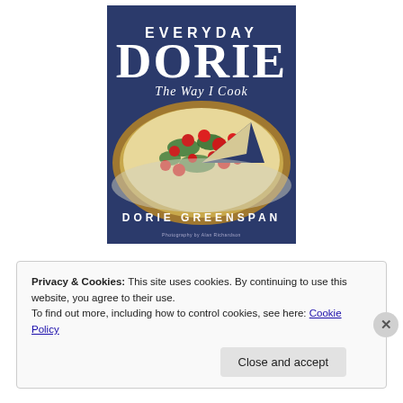[Figure (illustration): Book cover of 'Everyday Dorie: The Way I Cook' by Dorie Greenspan. Dark blue background with large white text 'EVERYDAY DORIE' and italic subtitle 'The Way I Cook'. Photo of a savory tart/quiche with tomatoes and greens. Author name 'DORIE GREENSPAN' at bottom. Photography credit at very bottom.]
Privacy & Cookies: This site uses cookies. By continuing to use this website, you agree to their use.
To find out more, including how to control cookies, see here: Cookie Policy
Close and accept